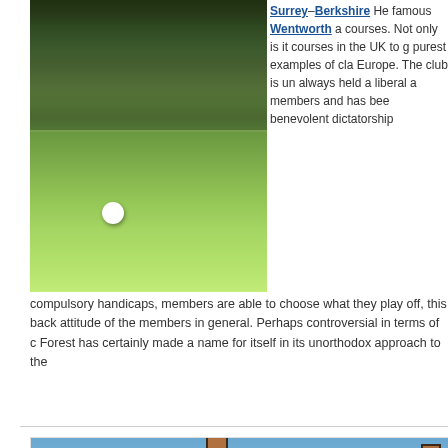[Figure (photo): Golf course photo showing green fairway with golf ball in foreground, trees in background, and bunker to the right]
Surrey–Berkshire He famous Wentworth a courses. Not only is it courses in the UK to g purest examples of cla Europe. The club is un always held a liberal a members and has bee benevolent dictatorship compulsory handicaps, members are able to choose what they play off, this back attitude of the members in general. Perhaps controversial in terms of c Forest has certainly made a name for itself in its unorthodox approach to the
[Figure (photo): Tudor-style clubhouse building with dark timber framing on brick, multiple gabled roofs, chimneys, and trees to the left, under blue sky]